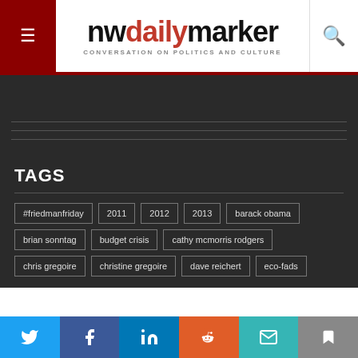nwdailymarker - CONVERSATION ON POLITICS AND CULTURE
TAGS
#friedmanfriday
2011
2012
2013
barack obama
brian sonntag
budget crisis
cathy mcmorris rodgers
chris gregoire
christine gregoire
dave reichert
eco-fads